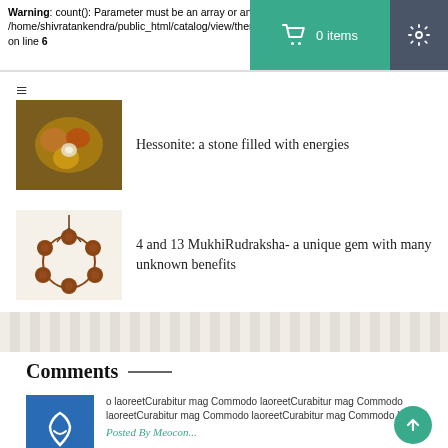Warning: count(): Parameter must be an array or an object that /home/shivratankendra/public_html/catalog/view/theme/ on line 6
0 items
≡
Hessonite: a stone filled with energies
[Figure (photo): Gold ring with orange hessonite gemstones and pearl]
4 and 13 MukhiRudraksha- a unique gem with many unknown benefits
[Figure (photo): Brown rudraksha bead bracelet]
[Figure (illustration): Decorative repeating pattern band]
Comments
[Figure (illustration): User avatar icon blue square]
o laoreetCurabitur mag Commodo laoreetCurabitur mag Commodo laoreetCurabitur mag Commodo laoreetCurabitur mag Commodo laoreet
Posted By Meocon...
[Figure (illustration): User avatar icon blue square]
nunc at In Curabitur mag
Posted By ha cong tien...